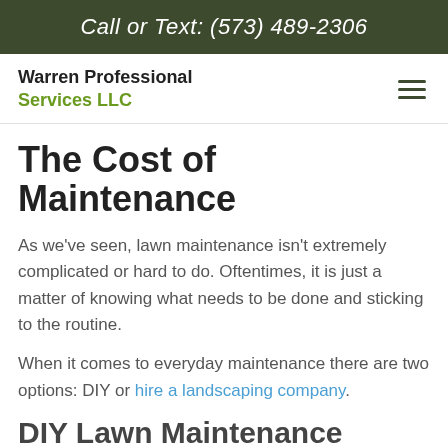Call or Text: (573) 489-2306
Warren Professional Services LLC
The Cost of Maintenance
As we've seen, lawn maintenance isn't extremely complicated or hard to do. Oftentimes, it is just a matter of knowing what needs to be done and sticking to the routine.
When it comes to everyday maintenance there are two options: DIY or hire a landscaping company.
DIY Lawn Maintenance
As with most things in life, DIY lawn care is going to be